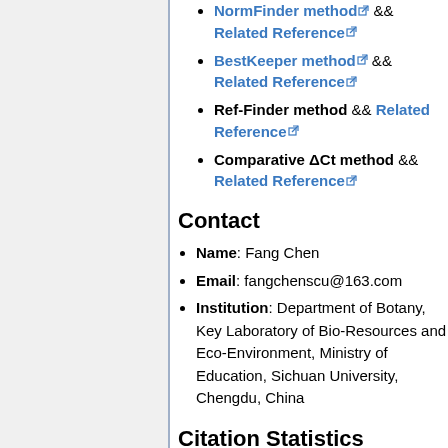NormFinder method && Related Reference
BestKeeper method && Related Reference
Ref-Finder method && Related Reference
Comparative ΔCt method && Related Reference
Contact
Name: Fang Chen
Email: fangchenscu@163.com
Institution: Department of Botany, Key Laboratory of Bio-Resources and Eco-Environment, Ministry of Education, Sichuan University, Chengdu, China
Citation Statistics